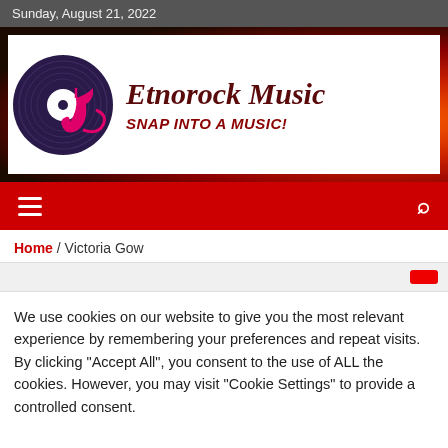Sunday, August 21, 2022
[Figure (logo): Etnorock Music logo: vinyl record with a pink musical note, beside text 'Etnorock Music' and tagline 'SNAP INTO A MUSIC!' on white background with flame imagery backdrop]
Home / Victoria Gow
We use cookies on our website to give you the most relevant experience by remembering your preferences and repeat visits. By clicking "Accept All", you consent to the use of ALL the cookies. However, you may visit "Cookie Settings" to provide a controlled consent.